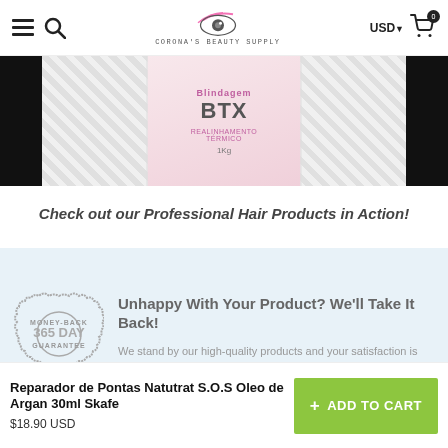Corona's Beauty Supply — USD — Cart (0)
[Figure (photo): Product image of Blindagem BTX Realinhamento Térmico 1Kg hair treatment product on a striped background with black side panels]
Check out our Professional Hair Products in Action!
[Figure (illustration): 365 Day Money-Back Guarantee badge/stamp in grey]
Unhappy With Your Product? We'll Take It Back!
We stand by our high-quality products and your satisfaction is 100% guaranteed.
Secure Checkout
Reparador de Pontas Natutrat S.O.S Oleo de Argan 30ml Skafe
$18.90 USD